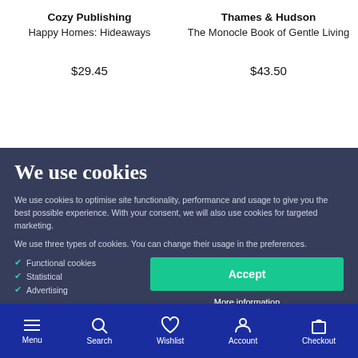Cozy Publishing
Happy Homes: Hideaways
$29.45
Thames & Hudson
The Monocle Book of Gentle Living
$43.50
We use cookies
We use cookies to optimise site functionality, performance and usage to give you the best possible experience. With your consent, we will also use cookies for targeted marketing.
We use three types of cookies. You can change their usage in the preferences.
Functional cookies
Statistical
Advertising
Accept
More information
Menu  Search  Wishlist  Account  Checkout